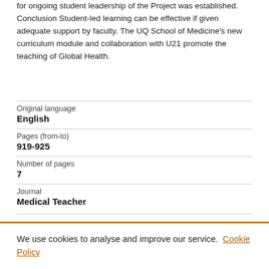for ongoing student leadership of the Project was established. Conclusion Student-led learning can be effective if given adequate support by faculty. The UQ School of Medicine's new curriculum module and collaboration with U21 promote the teaching of Global Health.
| Original language | English |
| Pages (from-to) | 919-925 |
| Number of pages | 7 |
| Journal | Medical Teacher |
We use cookies to analyse and improve our service. Cookie Policy